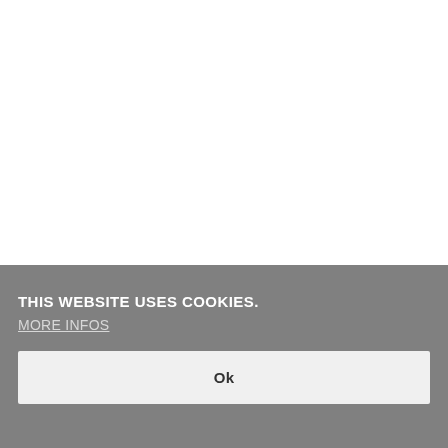THIS WEBSITE USES COOKIES.
MORE INFOS
Ok